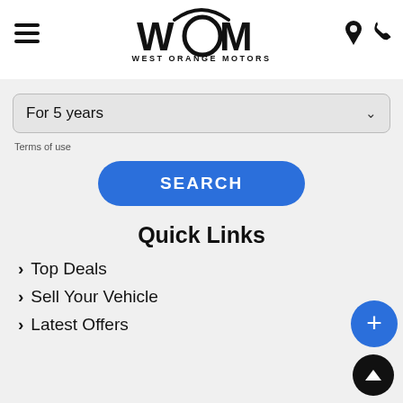[Figure (logo): West Orange Motors logo with WOM stylized text and swoosh arc above, plus WEST ORANGE MOTORS text below]
For 5 years
Terms of use
SEARCH
Quick Links
Top Deals
Sell Your Vehicle
Latest Offers